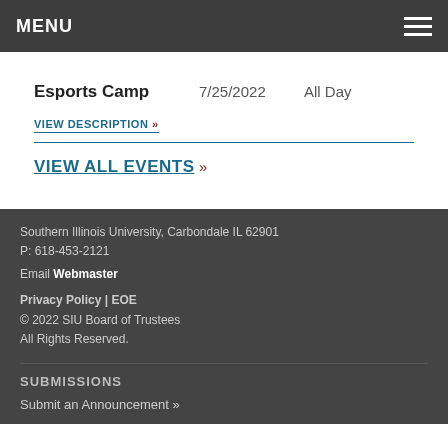MENU
Esports Camp   7/25/2022   All Day
VIEW DESCRIPTION »
VIEW ALL EVENTS »
Southern Illinois University, Carbondale IL 62901
P: 618-453-2121
Email Webmaster
Privacy Policy | EOE
© 2022 SIU Board of Trustees
All Rights Reserved.
SUBMISSIONS
Submit an Announcement »